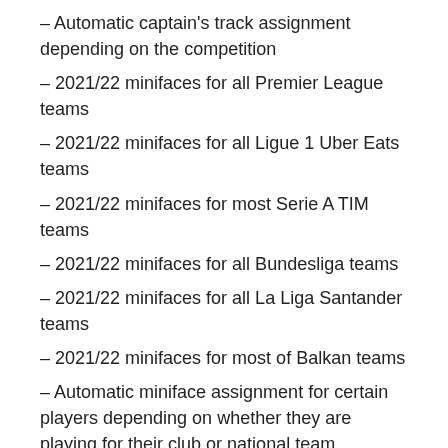– Automatic captain's track assignment depending on the competition
– 2021/22 minifaces for all Premier League teams
– 2021/22 minifaces for all Ligue 1 Uber Eats teams
– 2021/22 minifaces for most Serie A TIM teams
– 2021/22 minifaces for all Bundesliga teams
– 2021/22 minifaces for all La Liga Santander teams
– 2021/22 minifaces for most of Balkan teams
– Automatic miniface assignment for certain players depending on whether they are playing for their club or national team
– Updated coaches for all teams
– Many Balkan leagues and worldwide real faces (4000+)
– MlMyTeam module for select European teams (63) and select Balkan teams (6)
– Animated adboards for most teams and competitions
– Static adboards for all Balkan teams and competitions
– Latest bootpack with a lot of boots (666) and gloves (92),